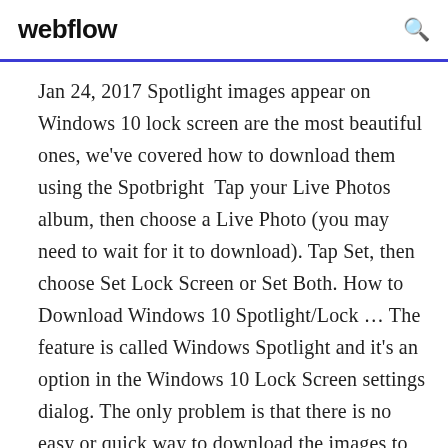webflow
Jan 24, 2017 Spotlight images appear on Windows 10 lock screen are the most beautiful ones, we've covered how to download them using the Spotbright  Tap your Live Photos album, then choose a Live Photo (you may need to wait for it to download). Tap Set, then choose Set Lock Screen or Set Both. How to Download Windows 10 Spotlight/Lock … The feature is called Windows Spotlight and it's an option in the Windows 10 Lock Screen settings dialog. The only problem is that there is no easy or quick way to download the images to your computer. Nor is there any way to use the Windows Spotlight feature for your desktop